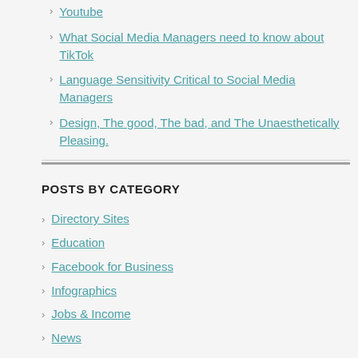Youtube
What Social Media Managers need to know about TikTok
Language Sensitivity Critical to Social Media Managers
Design, The good, The bad, and The Unaesthetically Pleasing.
POSTS BY CATEGORY
Directory Sites
Education
Facebook for Business
Infographics
Jobs & Income
News
Resources